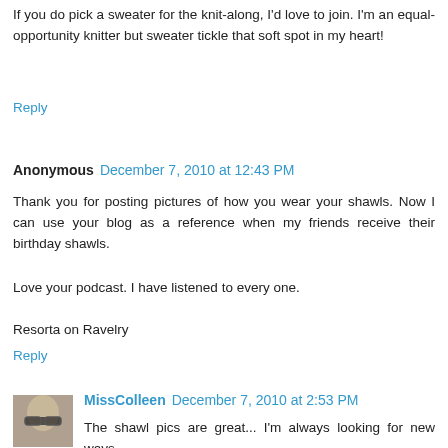If you do pick a sweater for the knit-along, I'd love to join. I'm an equal-opportunity knitter but sweater tickle that soft spot in my heart!
Reply
Anonymous December 7, 2010 at 12:43 PM
Thank you for posting pictures of how you wear your shawls. Now I can use your blog as a reference when my friends receive their birthday shawls.
Love your podcast. I have listened to every one.
Resorta on Ravelry
Reply
MissColleen December 7, 2010 at 2:53 PM
The shawl pics are great... I'm always looking for new ways